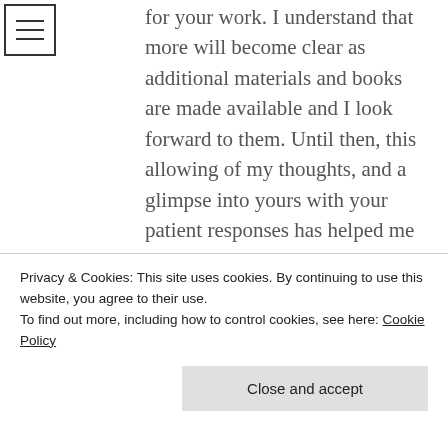[Figure (other): Hamburger menu icon — three horizontal lines inside a square border]
for your work. I understand that more will become clear as additional materials and books are made available and I look forward to them. Until then, this allowing of my thoughts, and a glimpse into yours with your patient responses has helped me to understand and has me remaining with great interest. Thank you. I appreciate you.

NA
Privacy & Cookies: This site uses cookies. By continuing to use this website, you agree to their use.
To find out more, including how to control cookies, see here: Cookie Policy
Close and accept